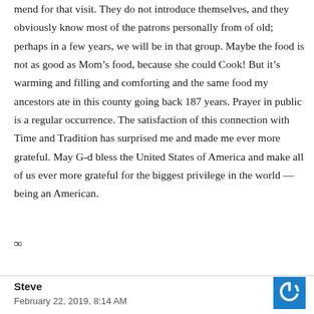mend for that visit. They do not introduce themselves, and they obviously know most of the patrons personally from of old; perhaps in a few years, we will be in that group. Maybe the food is not as good as Mom's food, because she could Cook! But it's warming and filling and comforting and the same food my ancestors ate in this county going back 187 years. Prayer in public is a regular occurrence. The satisfaction of this connection with Time and Tradition has surprised me and made me ever more grateful. May G-d bless the United States of America and make all of us ever more grateful for the biggest privilege in the world — being an American.
∞
Steve
February 22, 2019, 8:14 AM
[Figure (illustration): Blue square avatar with white power button icon]